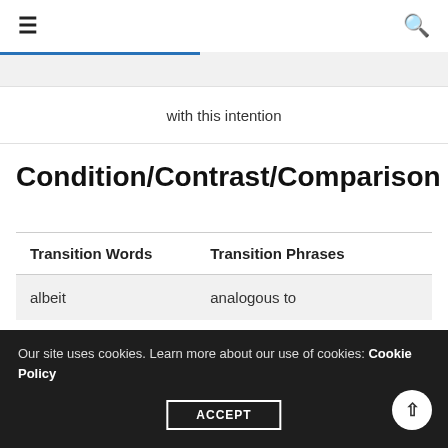☰  [search icon]
with this in mind
with this intention
Condition/Contrast/Comparison
| Transition Words | Transition Phrases |
| --- | --- |
| albeit | analogous to |
| although | although this may be true |
| … | … |
Our site uses cookies. Learn more about our use of cookies: Cookie Policy  ACCEPT